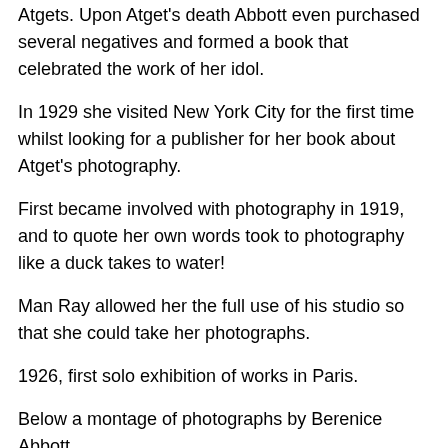Atgets. Upon Atget's death Abbott even purchased several negatives and formed a book that celebrated the work of her idol.
In 1929 she visited New York City for the first time whilst looking for a publisher for her book about Atget's photography.
First became involved with photography in 1919, and to quote her own words took to photography like a duck takes to water!
Man Ray allowed her the full use of his studio so that she could take her photographs.
1926, first solo exhibition of works in Paris.
Below a montage of photographs by Berenice Abbott.